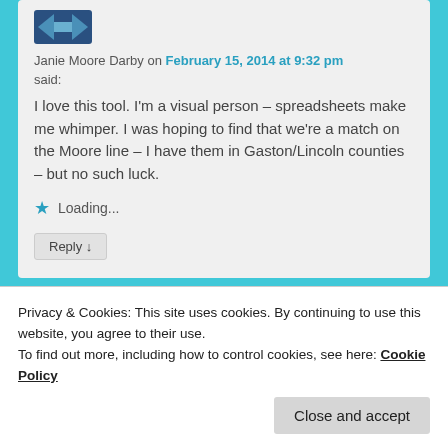[Figure (logo): Dark blue bowtie/arrow avatar icon]
Janie Moore Darby on February 15, 2014 at 9:32 pm
said:
I love this tool. I'm a visual person – spreadsheets make me whimper. I was hoping to find that we're a match on the Moore line – I have them in Gaston/Lincoln counties – but no such luck.
Loading...
Reply ↓
[Figure (logo): Purple avatar icon (partially visible)]
Privacy & Cookies: This site uses cookies. By continuing to use this website, you agree to their use.
To find out more, including how to control cookies, see here: Cookie Policy
Close and accept